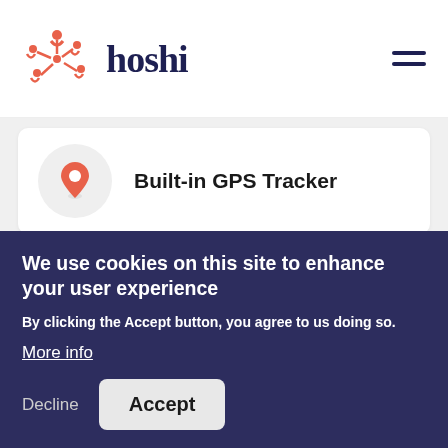[Figure (logo): Hoshi logo with coral starburst/people icon and dark blue 'hoshi' wordmark, plus hamburger menu icon on the right]
Built-in GPS Tracker
Easy Payslip View
We use cookies on this site to enhance your user experience
By clicking the Accept button, you agree to us doing so.
More info
Decline
Accept